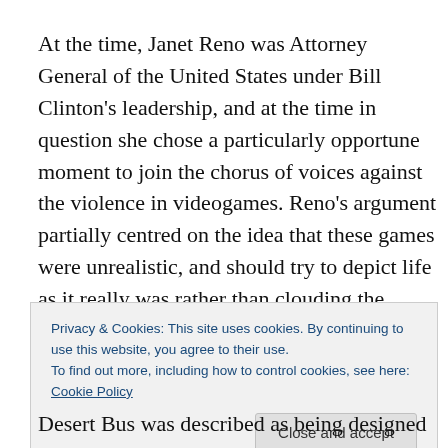At the time, Janet Reno was Attorney General of the United States under Bill Clinton's leadership, and at the time in question she chose a particularly opportune moment to join the chorus of voices against the violence in videogames. Reno's argument partially centred on the idea that these games were unrealistic, and should try to depict life as it really was rather than clouding the mind's
Privacy & Cookies: This site uses cookies. By continuing to use this website, you agree to their use.
To find out more, including how to control cookies, see here: Cookie Policy
Desert Bus was described as being designed to be an